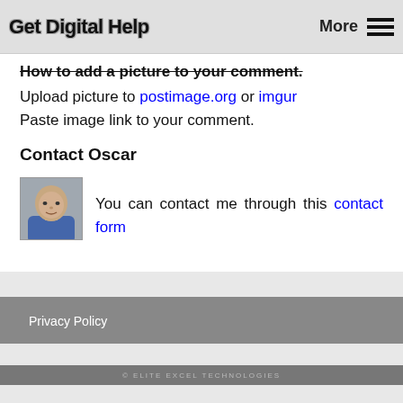Get Digital Help   More ☰
How to add a picture to your comment. Upload picture to postimage.org or imgur Paste image link to your comment.
Contact Oscar
[Figure (photo): Headshot photo of Oscar, a bald man wearing a blue shirt]
You can contact me through this contact form
Privacy Policy